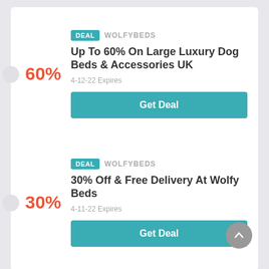[Figure (infographic): Deal card 1: DEAL badge, WOLFYBEDS brand, title 'Up To 60% On Large Luxury Dog Beds & Accessories UK', expiry 4-12-22, 60% in orange on left, Get Deal teal button]
[Figure (infographic): Deal card 2: DEAL badge, WOLFYBEDS brand, title '30% Off & Free Delivery At Wolfy Beds', expiry 4-11-22, 30% in orange on left, Get Deal teal button, scroll-to-top circle button bottom right]